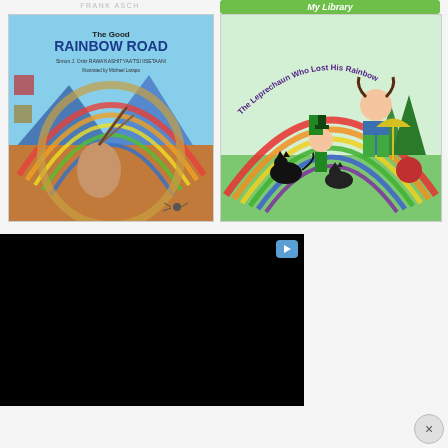FRANK ASCH
My Library
[Figure (illustration): Book cover of 'The Good Rainbow Road' by Simon J. Ortiz, illustrated by Michael Larapa. Shows a Native American figure holding arrows under a rainbow with geometric southwestern art.]
[Figure (illustration): Book cover of 'The Leprechaun Who Lost His Rainbow'. Shows a girl with pigtails holding an umbrella, a leprechaun, and black cats under a rainbow on a green background.]
[Figure (screenshot): Black video player window with a play button icon in the top right corner.]